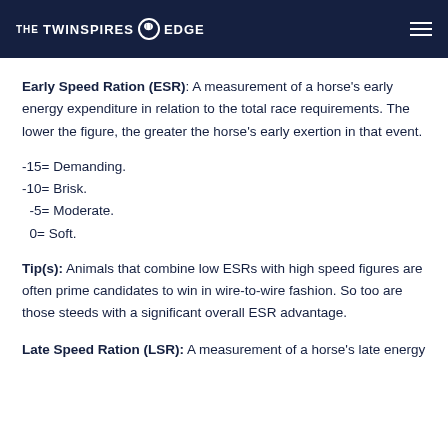THE TWINSPIRES EDGE
Early Speed Ration (ESR): A measurement of a horse's early energy expenditure in relation to the total race requirements. The lower the figure, the greater the horse's early exertion in that event.
-15= Demanding.
-10= Brisk.
-5= Moderate.
0= Soft.
Tip(s): Animals that combine low ESRs with high speed figures are often prime candidates to win in wire-to-wire fashion. So too are those steeds with a significant overall ESR advantage.
Late Speed Ration (LSR): A measurement of a horse's late energy